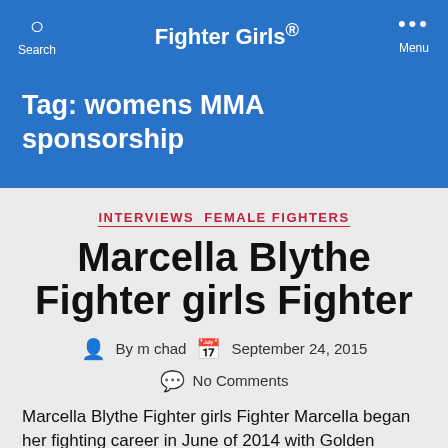Fighter Girls®
Tag: womens MMA sponsorship
INTERVIEWS FEMALE FIGHTERS
Marcella Blythe Fighter girls Fighter
By m chad   September 24, 2015
No Comments
Marcella Blythe Fighter girls Fighter Marcella began her fighting career in June of 2014 with Golden Tiger's kids